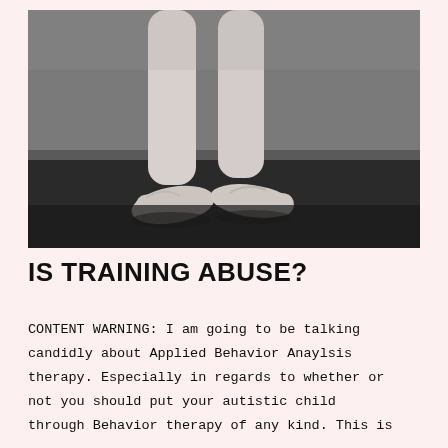[Figure (photo): Black and white photograph of a child's legs and feet wearing ballet shoes, standing on a dark studio floor.]
IS TRAINING ABUSE?
CONTENT WARNING: I am going to be talking candidly about Applied Behavior Anaylsis therapy. Especially in regards to whether or not you should put your autistic child through Behavior therapy of any kind. This is